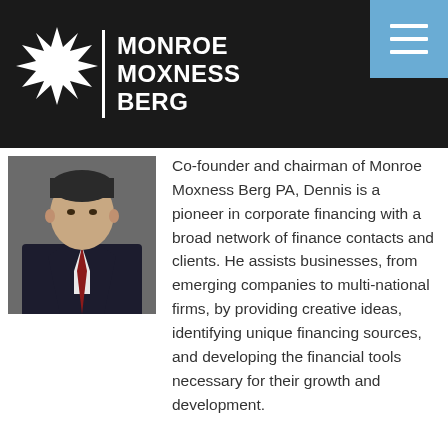Monroe Moxness Berg
[Figure (photo): Professional headshot of a man in a dark suit with a red tie]
Co-founder and chairman of Monroe Moxness Berg PA, Dennis is a pioneer in corporate financing with a broad network of finance contacts and clients. He assists businesses, from emerging companies to multi-national firms, by providing creative ideas, identifying unique financing sources, and developing the financial tools necessary for their growth and development.